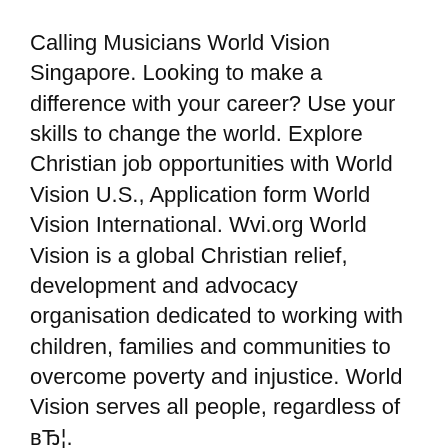Calling Musicians World Vision Singapore. Looking to make a difference with your career? Use your skills to change the world. Explore Christian job opportunities with World Vision U.S., Application form World Vision International. Wvi.org World Vision is a global Christian relief, development and advocacy organisation dedicated to working with children, families and communities to overcome poverty and injustice. World Vision serves all people, regardless of вЂ¦.
World vision application form" Keyword Found Websites